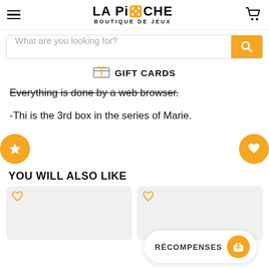[Figure (logo): La Pioche Boutique de Jeux logo with dice icon]
What are you looking for?
GIFT CARDS
Everything is done by a web browser.
-Thi is the 3rd box in the series of Marie.
YOU WILL ALSO LIKE
RÉCOMPENSES